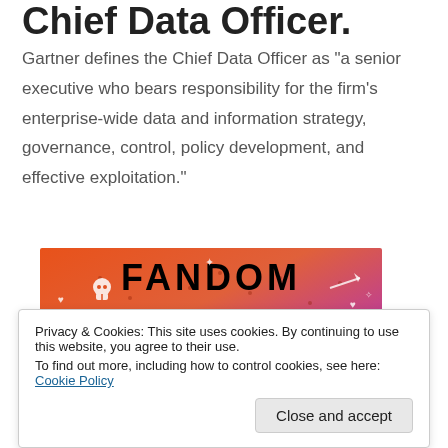Chief Data Officer.
Gartner defines the Chief Data Officer as “a senior executive who bears responsibility for the firm’s enterprise-wide data and information strategy, governance, control, policy development, and effective exploitation.”
[Figure (photo): Colorful image with orange-to-purple gradient background featuring bold text reading 'FANDOM ON tumblr' with white doodle icons including skulls, hearts, arrows, music notes, and cartoon characters.]
Privacy & Cookies: This site uses cookies. By continuing to use this website, you agree to their use.
To find out more, including how to control cookies, see here: Cookie Policy